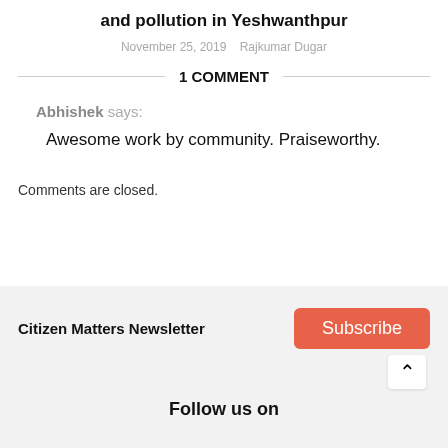and pollution in Yeshwanthpur
November 25, 2019   Rajkumar Dugar
1 COMMENT
Abhishek says:
Awesome work by community. Praiseworthy.
Comments are closed.
Citizen Matters Newsletter
Subscribe
Follow us on